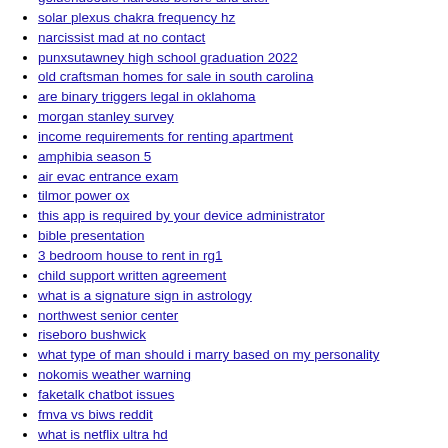goldendoodle haircuts before and after
solar plexus chakra frequency hz
narcissist mad at no contact
punxsutawney high school graduation 2022
old craftsman homes for sale in south carolina
are binary triggers legal in oklahoma
morgan stanley survey
income requirements for renting apartment
amphibia season 5
air evac entrance exam
tilmor power ox
this app is required by your device administrator
bible presentation
3 bedroom house to rent in rg1
child support written agreement
what is a signature sign in astrology
northwest senior center
riseboro bushwick
what type of man should i marry based on my personality
nokomis weather warning
faketalk chatbot issues
fmva vs biws reddit
what is netflix ultra hd
small salon for sale near me
supermarket steak out streaming
prayer against envious enemies